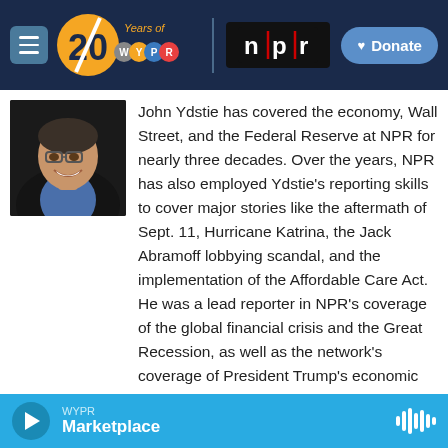[Figure (logo): WYPR 20 Years / NPR navigation bar with hamburger menu and Donate button]
[Figure (photo): Headshot of John Ydstie — man in dark jacket and blue shirt, smiling, wearing glasses]
John Ydstie has covered the economy, Wall Street, and the Federal Reserve at NPR for nearly three decades. Over the years, NPR has also employed Ydstie's reporting skills to cover major stories like the aftermath of Sept. 11, Hurricane Katrina, the Jack Abramoff lobbying scandal, and the implementation of the Affordable Care Act. He was a lead reporter in NPR's coverage of the global financial crisis and the Great Recession, as well as the network's coverage of President Trump's economic policies. Ydstie has also been a guest host on the
WYPR — Marketplace (audio player bar)